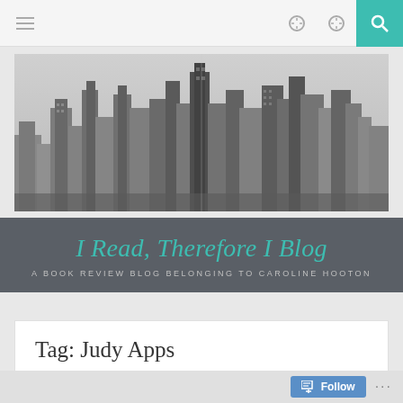Navigation bar with hamburger menu and search icon
[Figure (photo): Black and white aerial photograph of a city skyline with tall skyscrapers and buildings, New York City style]
I Read, Therefore I Blog
A BOOK REVIEW BLOG BELONGING TO CAROLINE HOOTON
Tag: Judy Apps
Follow ...